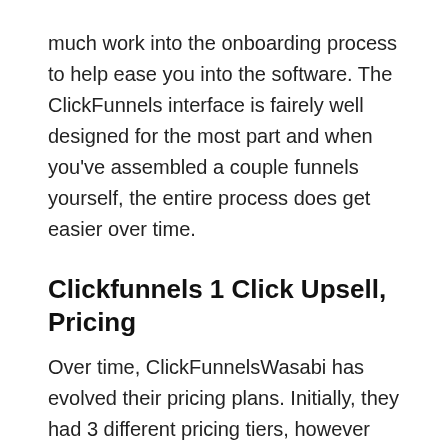much work into the onboarding process to help ease you into the software. The ClickFunnels interface is fairely well designed for the most part and when you've assembled a couple funnels yourself, the entire process does get easier over time.
Clickfunnels 1 Click Upsell, Pricing
Over time, ClickFunnelsWasabi has evolved their pricing plans. Initially, they had 3 different pricing tiers, however they have now been merged into 2 separate plans.
How much is ClickFunnels now?